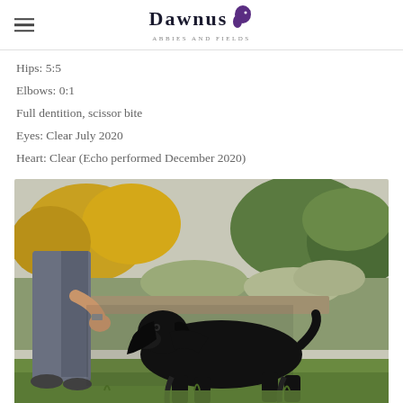DAWNUS Abbies and Fields
Hips: 5:5
Elbows: 0:1
Full dentition, scissor bite
Eyes: Clear July 2020
Heart: Clear (Echo performed December 2020)
[Figure (photo): A black cocker spaniel dog standing on grass in a garden, being held/shown by a person wearing grey trousers and a wristwatch. The background shows garden plants and shrubs with autumn colours.]